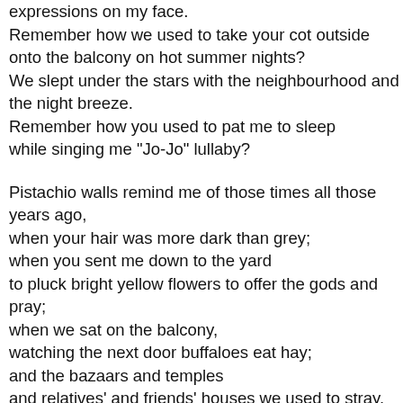expressions on my face.
Remember how we used to take your cot outside onto the balcony on hot summer nights?
We slept under the stars with the neighbourhood and the night breeze.
Remember how you used to pat me to sleep while singing me "Jo-Jo" lullaby?

Pistachio walls remind me of those times all those years ago, when your hair was more dark than grey; when you sent me down to the yard to pluck bright yellow flowers to offer the gods and pray; when we sat on the balcony, watching the next door buffaloes eat hay; and the bazaars and temples and relatives' and friends' houses we used to stray.

But now, in your mind, memories refuse to stay. Let the pistachio walls remind you of who you were, Nani. Let them remind you of us, of love, of simple times, of kindness, of nostalgia, of your countless blessings and time.